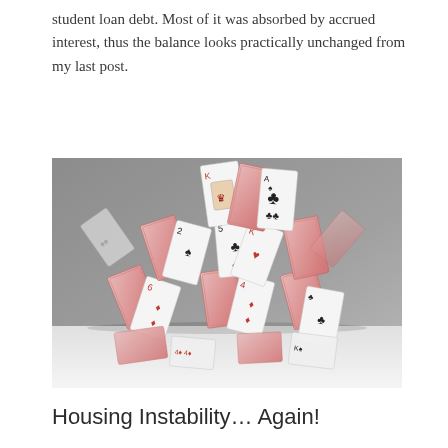student loan debt. Most of it was absorbed by accrued interest, thus the balance looks practically unchanged from my last post.
[Figure (photo): A house of playing cards collapsing, with cards falling and scattered on a white surface against a grey background.]
Housing Instability… Again!